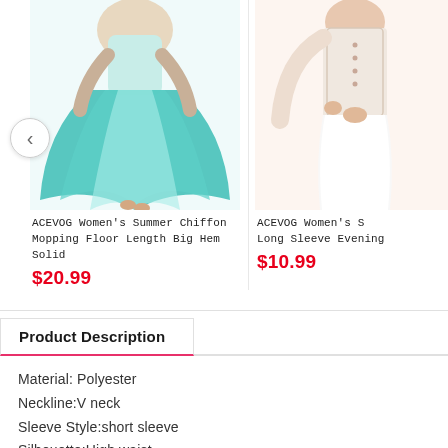[Figure (photo): ACEVOG Women's Summer Chiffon Mopping Floor Length Big Hem Solid dress in teal/turquoise color, model shown]
ACEVOG Women's Summer Chiffon Mopping Floor Length Big Hem Solid
$20.99
[Figure (photo): ACEVOG Women's S... Long Sleeve Evening dress in white, model shown]
ACEVOG Women's S Long Sleeve Evening
$10.99
Product Description
Material: Polyester
Neckline:V neck
Sleeve Style:short sleeve
Silhouette:High waist
Package Content: 1 x Women Dress